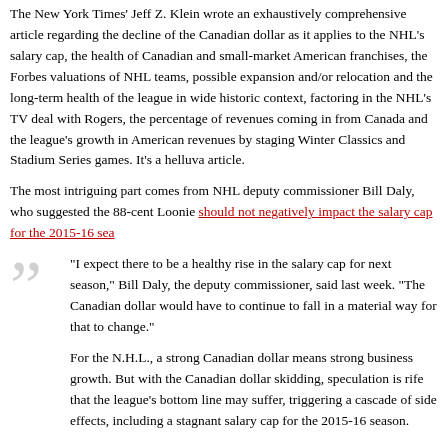The New York Times' Jeff Z. Klein wrote an exhaustively comprehensive article regarding the decline of the Canadian dollar as it applies to the NHL's salary cap, the health of Canadian and small-market American franchises, the Forbes valuations of NHL teams, possible expansion and/or relocation and the long-term health of the league in wide historic context, factoring in the NHL's TV deal with Rogers, the percentage of revenues coming in from Canada and the league's growth in American revenues by staging Winter Classics and Stadium Series games. It's a helluva article.
The most intriguing part comes from NHL deputy commissioner Bill Daly, who suggested the 88-cent Loonie should not negatively impact the salary cap for the 2015-16 sea...
"I expect there to be a healthy rise in the salary cap for next season," Bill Daly, the deputy commissioner, said last week. "The Canadian dollar would have to continue to fall in a material way for that to change."

For the N.H.L., a strong Canadian dollar means strong business growth. But with the Canadian dollar skidding, speculation is rife that the league's bottom line may suffer, triggering a cascade of side effects, including a stagnant salary cap for the 2015-16 season.
Continue Reading »
Filed in: | KK Hockey | Permalink
Tags: bill+daly, gary+bettman, ottawa+senators, salary+cap